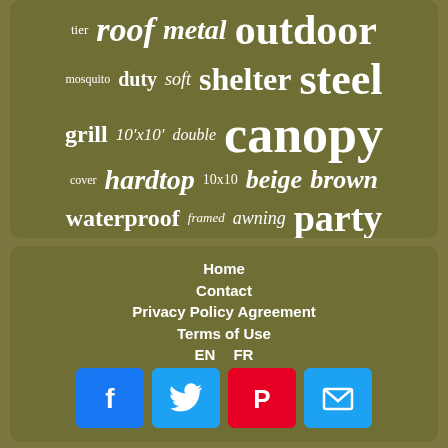[Figure (infographic): Word cloud on olive/khaki background with words: tier, roof, metal, outdoor, mosquito, duty, soft, shelter, steel, grill, 10'x10', double, canopy, cover, hardtop, 10x10, beige, brown, waterproof, framed, awning, party, gazebo]
Home
Contact
Privacy Policy Agreement
Terms of Use
EN   FR
[Figure (infographic): Social media icons row: Facebook (blue), Twitter (light blue), Pinterest (red), Email/envelope (light blue)]